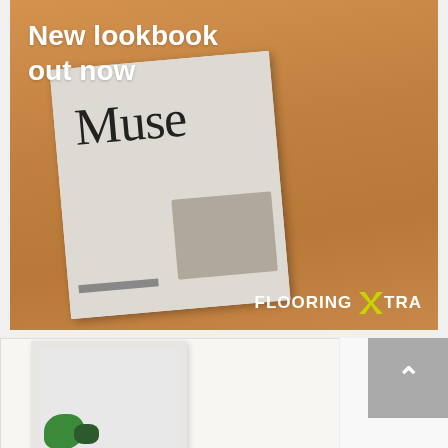[Figure (photo): Marketing banner image showing a woman in a camel coat holding a magazine/lookbook titled 'Muse'. Text overlay reads 'New lookbook out now' in white. FLOORING XTRA logo appears at bottom right of the image.]
New lookbook out now
[Figure (logo): FLOORING XTRA logo with white text and a yellow/green X symbol]
[Figure (photo): Partial bottom image showing framed artwork with green abstract shapes on a light wall, partially cropped. A scroll-to-top button (grey square with up arrow) is visible on the right.]